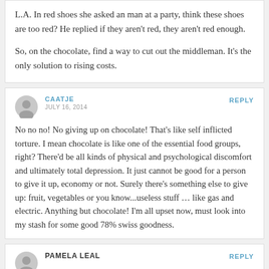L.A. In red shoes she asked an man at a party, think these shoes are too red? He replied if they aren't red, they aren't red enough.

So, on the chocolate, find a way to cut out the middleman. It's the only solution to rising costs.
CAATJE
JULY 16, 2014
REPLY
No no no! No giving up on chocolate! That's like self inflicted torture. I mean chocolate is like one of the essential food groups, right? There'd be all kinds of physical and psychological discomfort and ultimately total depression. It just cannot be good for a person to give it up, economy or not. Surely there's something else to give up: fruit, vegetables or you know...useless stuff … like gas and electric. Anything but chocolate! I'm all upset now, must look into my stash for some good 78% swiss goodness.
PAMELA LEAL
REPLY